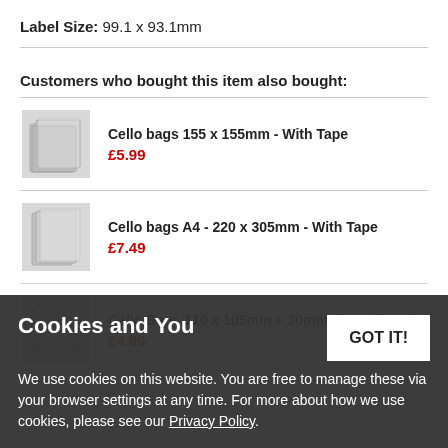Label Size:  99.1 x 93.1mm
Customers who bought this item also bought:
Cello bags 155 x 155mm - With Tape
£5.99
Cello bags A4 - 220 x 305mm - With Tape
£7.49
Cello Bags 110 x 105mm + 30mm Lip Self Seal
£4.99
Cookies and You
We use cookies on this website. You are free to manage these via your browser settings at any time. For more about how we use cookies, please see our Privacy Policy.